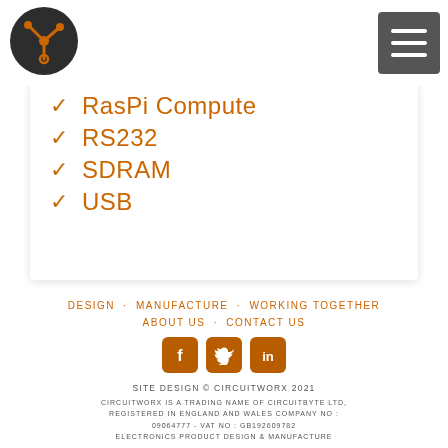[Figure (logo): CircuitWorx logo — dark circular badge with orange lightning bolt connector graphic]
[Figure (other): Hamburger menu button — dark grey square with three white horizontal bars]
✓ RasPi Compute
✓ RS232
✓ SDRAM
✓ USB
DESIGN  MANUFACTURE  WORKING TOGETHER  ABOUT US  CONTACT US
[Figure (logo): Facebook, Twitter, LinkedIn social media icons in orange/brown square badges]
SITE DESIGN © CIRCUITWORX 2021
CIRCUITWORX IS A TRADING NAME OF CIRCUITBYTE LTD, REGISTERED IN ENGLAND AND WALES COMPANY NO : 09064777 - VAT NO : GB192609782 ELECTRONICS PRODUCT DESIGN & MANUFACTURE